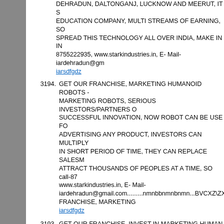DEHRADUN, DALTONGANJ, LUCKNOW AND MEERUT, IT S EDUCATION COMPANY, MULTI STREAMS OF EARNING, SO SPREAD THIS TECHNOLOGY ALL OVER INDIA, MAKE IN IN 8755222935, www.starkindustries.in, E- Mail- iardehradun@gm iarsdfgdz
3194. GET OUR FRANCHISE, MARKETING HUMANOID ROBOTS - MARKETING ROBOTS, SERIOUS INVESTORS/PARTNERS O SUCCESSFUL INNOVATION, NOW ROBOT CAN BE USE FO ADVERTISING ANY PRODUCT, INVESTORS CAN MULTIPLY IN SHORT PERIOD OF TIME, THEY CAN REPLACE SALESM ATTRACT THOUSANDS OF PEOPLES AT A TIME, SO call-87 www.starkindustries.in, E- Mail- iardehradun@gmail.com.........nmnbbnmnbnmn...BVCXZ\ZXC. FRANCHISE, MARKETING iarsdfgdz
3193. GET OUR FRANCHISE, INVEST IN MARKETING HUMAN RO INVESTORS/PARTNERS CAN CALL, 100% SUCCESSFUL IN 9001 - 2008 COMPANY, NOW ROBOT CAN BE USE FOR MA ADVERTISING ANY PRODUCT, INVESTORS CAN MULTIPLY IN SHORT PERIOD OF TIME, THEY CAN REPLACE SALESM ATTRACT THOUSANDS OF PEOPLES AT A TIME, SO call-87 www.starkindustries.in, E- Mail- iardehradun@gmail.com.........DFVSDVZSDFTYHGVBNDSVD9 iarsdfgdz
3192. GET OUR FRANCHISE, FAST GROWING ROBOT MANUFAC EDUCATION COMPANY, AN ISO 9001 - 2008 CERTIFIED CO HUMANOID ROBOTS - FUTURE OF ROBOTS AND ADVANC HERE, WE HAVE PRACTICAL EDUCATION RUNNING PROJ BANGALORE, NELLORE, DEHRADUN, DALTONGANJ, LUC